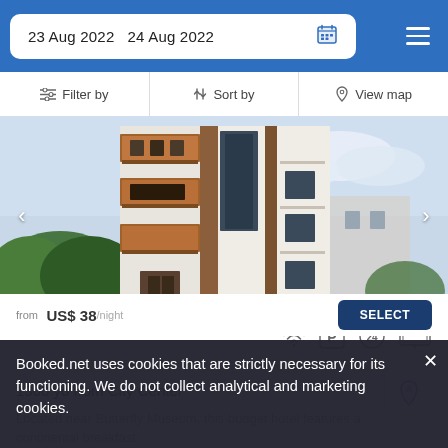23 Aug 2022  24 Aug 2022
Filter by  Sort by  View map
[Figure (photo): Exterior photo of a multi-story hotel building with orange/brown balconies on a white facade, viewed from below at an angle. Surrounded by trees and other buildings under a partly cloudy sky.]
1300 yd from City Center
Located near Butterfly Museum, this budget hotel features a continental breakfast
from US$ 38/night  SELECT
Booked.net uses cookies that are strictly necessary for its functioning. We do not collect analytical and marketing cookies.